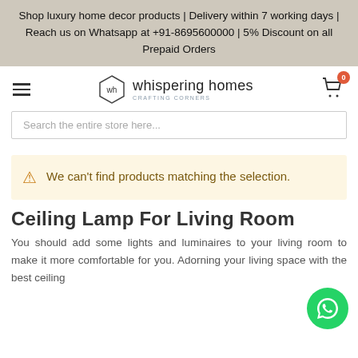Shop luxury home decor products | Delivery within 7 working days | Reach us on Whatsapp at +91-8695600000 | 5% Discount on all Prepaid Orders
[Figure (logo): Whispering Homes logo with hexagon wh icon and text 'whispering homes CRAFTING CORNERS']
Search the entire store here...
We can't find products matching the selection.
Ceiling Lamp For Living Room
You should add some lights and luminaires your living room to make it more comfortable for you. Adorning your living space with the best ceiling...